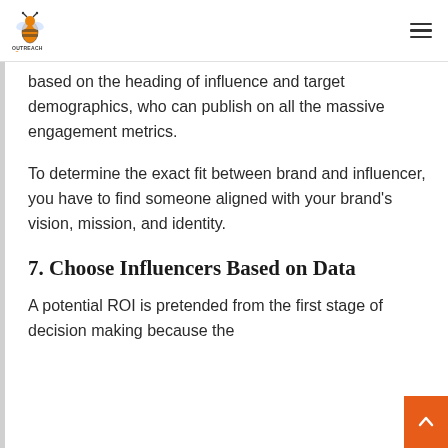OutreachBee [logo]
based on the heading of influence and target demographics, who can publish on all the massive engagement metrics.
To determine the exact fit between brand and influencer, you have to find someone aligned with your brand’s vision, mission, and identity.
7. Choose Influencers Based on Data
A potential ROI is pretended from the first stage of decision making because the